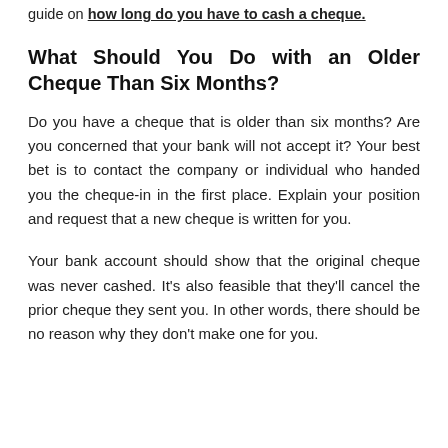guide on how long do you have to cash a cheque.
What Should You Do with an Older Cheque Than Six Months?
Do you have a cheque that is older than six months? Are you concerned that your bank will not accept it? Your best bet is to contact the company or individual who handed you the cheque-in in the first place. Explain your position and request that a new cheque is written for you.
Your bank account should show that the original cheque was never cashed. It's also feasible that they'll cancel the prior cheque they sent you. In other words, there should be no reason why they don't make one for you.